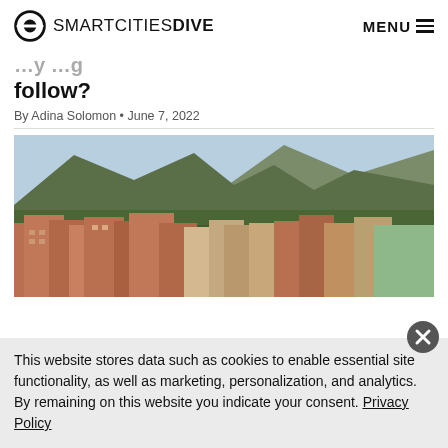SMARTCITIES DIVE | MENU
follow?
By Adina Solomon • June 7, 2022
[Figure (photo): Aerial view of a city with brick and tan buildings in the foreground and green tree-covered hills and mountains in the background, likely Boulder, Colorado.]
This website stores data such as cookies to enable essential site functionality, as well as marketing, personalization, and analytics. By remaining on this website you indicate your consent. Privacy Policy